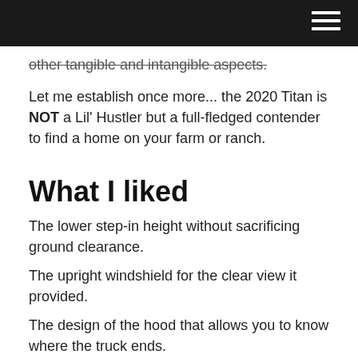other tangible and intangible aspects.
Let me establish once more... the 2020 Titan is NOT a Lil' Hustler but a full-fledged contender to find a home on your farm or ranch.
What I liked
The lower step-in height without sacrificing ground clearance.
The upright windshield for the clear view it provided.
The design of the hood that allows you to know where the truck ends.
Extremely comfortable and welcoming seats and driving position.